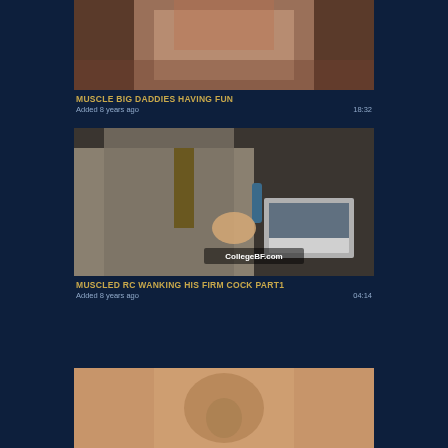[Figure (photo): Video thumbnail showing partial figure, top portion cropped]
Muscle big daddies having fun
Added 8 years ago    18:32
[Figure (photo): Video thumbnail showing person in grey suit jacket near laptop on couch, watermark CollegeBF.com]
Muscled rc wanking his firm cock part1
Added 8 years ago    04:14
[Figure (photo): Video thumbnail showing close-up skin/body detail]